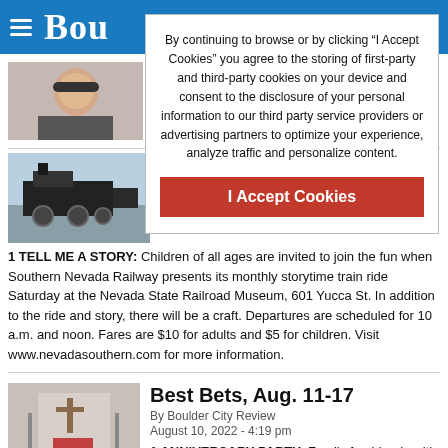Boulder City Review
By continuing to browse or by clicking “I Accept Cookies” you agree to the storing of first-party and third-party cookies on your device and consent to the disclosure of your personal information to our third party service providers or advertising partners to optimize your experience, analyze traffic and personalize content.
I Accept Cookies
[Figure (photo): Headshot of Francis Pioquinto]
Francis Pioquinto of annual poster conte
[Figure (photo): Black steam locomotive at Nevada State Railroad Museum]
By Boulder City Review
August 17, 2022 - 3:00 pm
1 TELL ME A STORY: Children of all ages are invited to join the fun when Southern Nevada Railway presents its monthly storytime train ride Saturday at the Nevada State Railroad Museum, 601 Yucca St. In addition to the ride and story, there will be a craft. Departures are scheduled for 10 a.m. and noon. Fares are $10 for adults and $5 for children. Visit www.nevadasouthern.com for more information.
[Figure (photo): Interior of a church with altar and cross]
Best Bets, Aug. 11-17
By Boulder City Review
August 10, 2022 - 4:19 pm
1 ANNIVERSARY PARTY: Family fun blends with a history lesson Saturday when St.